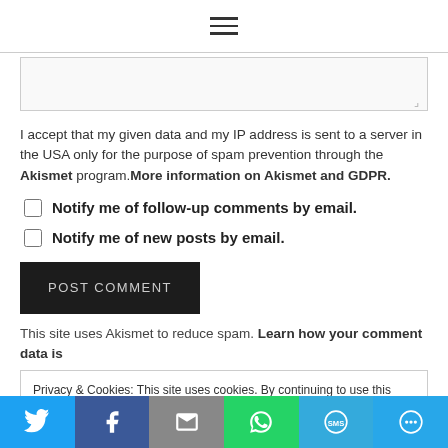≡
I accept that my given data and my IP address is sent to a server in the USA only for the purpose of spam prevention through the Akismet program. More information on Akismet and GDPR.
Notify me of follow-up comments by email.
Notify me of new posts by email.
POST COMMENT
This site uses Akismet to reduce spam. Learn how your comment data is
Privacy & Cookies: This site uses cookies. By continuing to use this website, you agree to their use. To find out more, including how to control cookies, see here: Cookie Policy